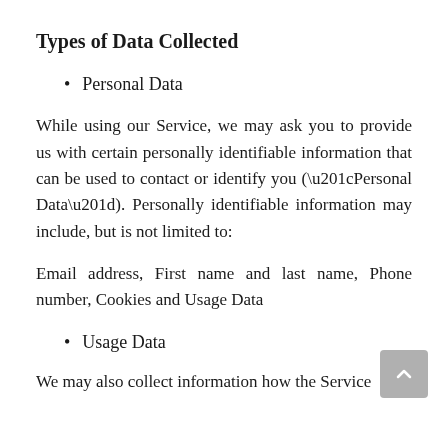Types of Data Collected
Personal Data
While using our Service, we may ask you to provide us with certain personally identifiable information that can be used to contact or identify you (“Personal Data”). Personally identifiable information may include, but is not limited to:
Email address, First name and last name, Phone number, Cookies and Usage Data
Usage Data
We may also collect information how the Service